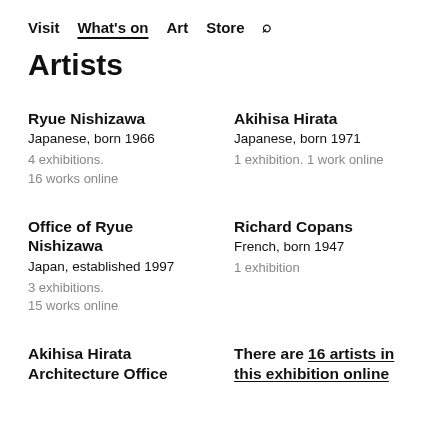Visit  What's on  Art  Store  🔍
Artists
Ryue Nishizawa
Japanese, born 1966
4 exhibitions.
16 works online
Akihisa Hirata
Japanese, born 1971
1 exhibition. 1 work online
Office of Ryue Nishizawa
Japan, established 1997
3 exhibitions.
15 works online
Richard Copans
French, born 1947
1 exhibition
Akihisa Hirata Architecture Office
There are 16 artists in this exhibition online